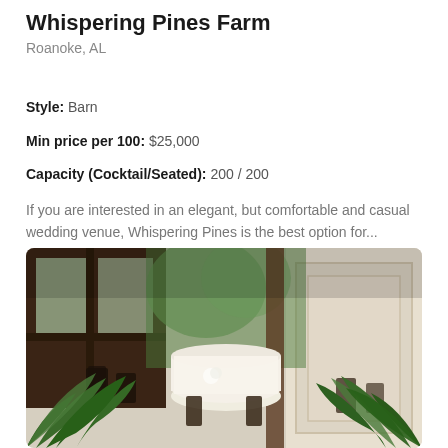Whispering Pines Farm
Roanoke, AL
Style: Barn
Min price per 100: $25,000
Capacity (Cocktail/Seated): 200 / 200
If you are interested in an elegant, but comfortable and casual wedding venue, Whispering Pines is the best option for...
[Figure (photo): Interior of a barn wedding venue showing round tables with white linens, dark wooden chairs, large windows, and green fern plants in the foreground.]